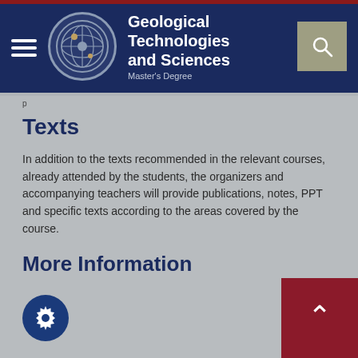Geological Technologies and Sciences — Master's Degree
Texts
In addition to the texts recommended in the relevant courses, already attended by the students, the organizers and accompanying teachers will provide publications, notes, PPT and specific texts according to the areas covered by the course.
More Information
None
Prossima attivazione